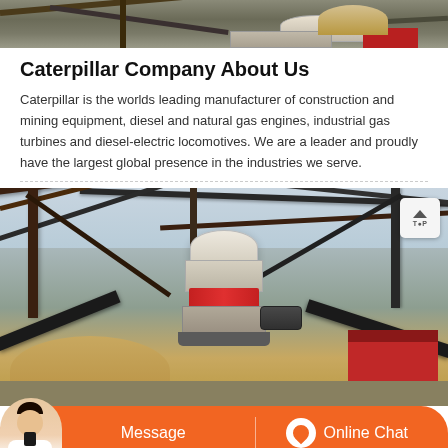[Figure (photo): Top portion of industrial construction/mining site photo, cropped at top of page]
Caterpillar Company About Us
Caterpillar is the worlds leading manufacturer of construction and mining equipment, diesel and natural gas engines, industrial gas turbines and diesel-electric locomotives. We are a leader and proudly have the largest global presence in the industries we serve.
[Figure (photo): Industrial mining/construction site showing a cone crusher machine surrounded by metal conveyor belt framework structures, with sand piles and a red building in the background. A 'TOP' navigation button is visible in the upper right corner.]
[Figure (infographic): Orange chat bar at the bottom with a customer service agent avatar, 'Message' button on the left, and 'Online Chat' button with headset icon on the right]